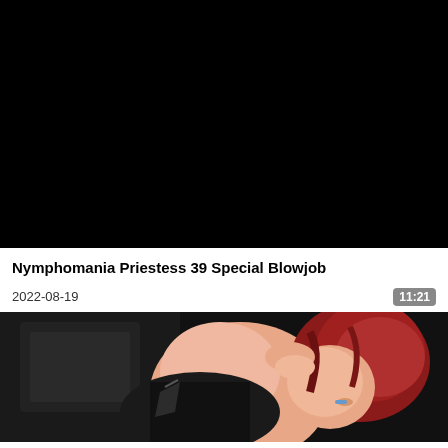[Figure (screenshot): Black video thumbnail / player area]
Nymphomania Priestess 39 Special Blowjob
2022-08-19
11:21
[Figure (illustration): Anime-style illustration showing a red-haired female character in dark outfit]